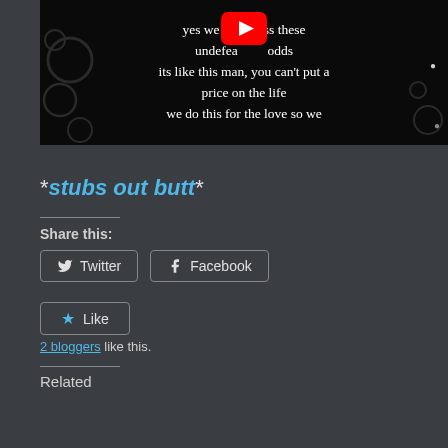[Figure (screenshot): YouTube video thumbnail showing lyrics: 'yes we lea... oss these undefea... odds its like this man, you can't put a price on the life we do this for the love so we' with a YouTube play button overlay, dark background with decorative swirls.]
*stubs out butt*
Share this:
Twitter
Facebook
Like
2 bloggers like this.
Related